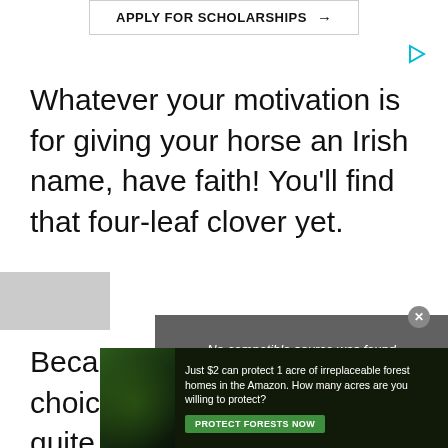[Figure (other): Advertisement banner: 'APPLY FOR SCHOLARSHIPS →' button with border, and a small cyan play/ad icon to the right]
Whatever your motivation is for giving your horse an Irish name, have faith! You'll find that four-leaf clover yet.
Because, as you can see, the choices are many. Maybe not quite as many as there are potatoes in Ireland, but...
[Figure (screenshot): Video player overlay showing 'No compatible source was found' message with grey background]
[Figure (other): Bottom advertisement banner: forest/Amazon image with text 'Just $2 can protect 1 acre of irreplaceable forest homes in the Amazon. How many acres are you willing to protect?' and a green 'PROTECT FORESTS NOW' button]